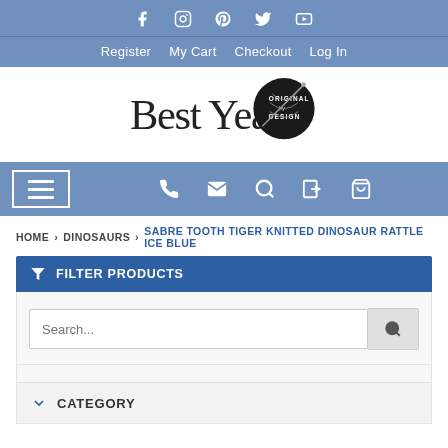Social icons: Facebook, Instagram, Pinterest, Twitter, YouTube
Register  My Cart  Checkout  Log In
[Figure (logo): Best Years logo with yarn ball and 'Original by Design' badge]
Hamburger menu, phone, mail, search, login, cart icons
HOME > DINOSAURS > SABRE TOOTH TIGER KNITTED DINOSAUR RATTLE ICE BLUE
FILTER PRODUCTS
Search...
CATEGORY